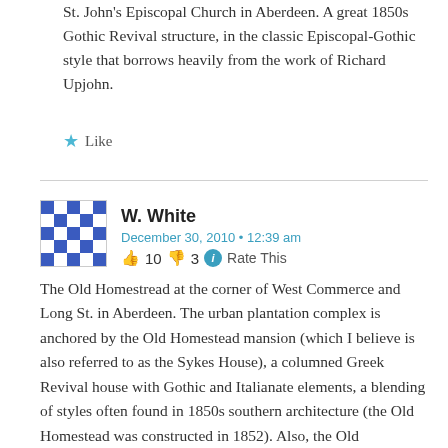St. John's Episcopal Church in Aberdeen. A great 1850s Gothic Revival structure, in the classic Episcopal-Gothic style that borrows heavily from the work of Richard Upjohn.
Like
W. White
December 30, 2010 • 12:39 am
👍 10 👎 3 ℹ Rate This
The Old Homestread at the corner of West Commerce and Long St. in Aberdeen. The urban plantation complex is anchored by the Old Homestead mansion (which I believe is also referred to as the Sykes House), a columned Greek Revival house with Gothic and Italianate elements, a blending of styles often found in 1850s southern architecture (the Old Homestead was constructed in 1852). Also, the Old Homestead complex contains what is probably the only Gothic Revival barn in Mississippi. With all due respect to the Red Barn in Rolling Fork, the Old Homestead barn is probably the most architecturally significant barn in Mississippi.